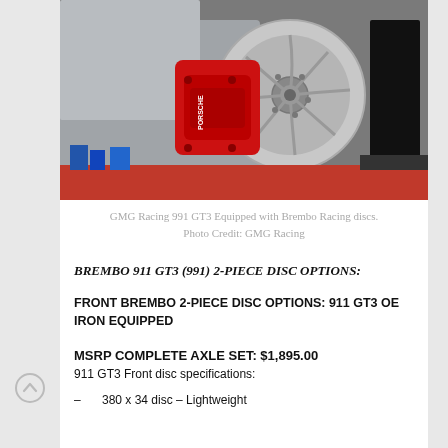[Figure (photo): Close-up photo of a red Porsche brake caliper labeled PORSCHE and a slotted brake disc on a GMG Racing 991 GT3, with garage equipment visible in the background.]
GMG Racing 991 GT3 Equipped with Brembo Racing discs. Photo Credit: GMG Racing
BREMBO 911 GT3 (991) 2-PIECE DISC OPTIONS:
FRONT BREMBO 2-PIECE DISC OPTIONS: 911 GT3 OE IRON EQUIPPED
MSRP COMPLETE AXLE SET: $1,895.00
911 GT3 Front disc specifications:
380 x 34 disc – Lightweight